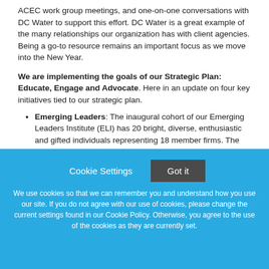ACEC work group meetings, and one-on-one conversations with DC Water to support this effort. DC Water is a great example of the many relationships our organization has with client agencies. Being a go-to resource remains an important focus as we move into the New Year.
We are implementing the goals of our Strategic Plan: Educate, Engage and Advocate. Here in an update on four key initiatives tied to our strategic plan.
Emerging Leaders: The inaugural cohort of our Emerging Leaders Institute (ELI) has 20 bright, diverse, enthusiastic and gifted individuals representing 18 member firms. The
[Figure (screenshot): Cookie consent overlay with blue background. Contains 'Cookie Settings' and 'Got it' buttons, followed by cookie policy text.]
We use cookies so that we can remember you and understand how you use our site. If you do not agree with our use of cookies, please change the current settings found in our Cookie Policy. Otherwise, you agree to the use of the cookies as they are currently set.